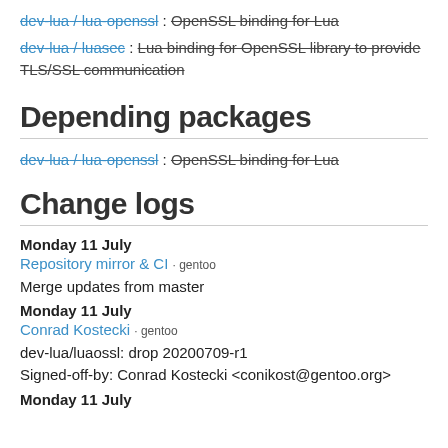dev-lua / lua-openssl : OpenSSL binding for Lua
dev-lua / luasec : Lua binding for OpenSSL library to provide TLS/SSL communication
Depending packages
dev-lua / lua-openssl : OpenSSL binding for Lua
Change logs
Monday 11 July
Repository mirror & CI · gentoo
Merge updates from master
Monday 11 July
Conrad Kostecki · gentoo
dev-lua/luaossl: drop 20200709-r1
Signed-off-by: Conrad Kostecki <conikost@gentoo.org>
Monday 11 July